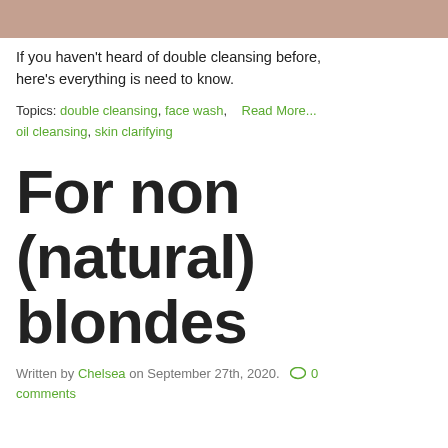[Figure (photo): Cropped photo of a person washing their face, brown/terracotta tones, top portion only visible]
If you haven't heard of double cleansing before, here's everything is need to know.
Topics: double cleansing, face wash,    Read More...  oil cleansing, skin clarifying
For non (natural) blondes
Written by Chelsea on September 27th, 2020.   0 comments